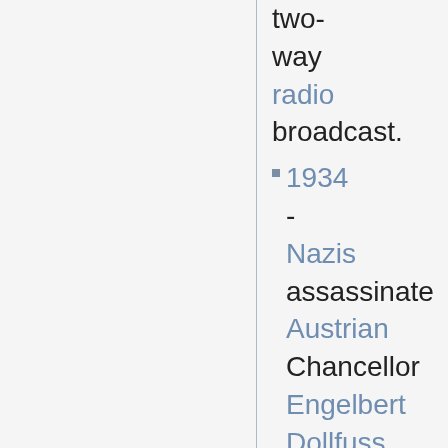two-way radio broadcast.
1934 - Nazis assassinate Austrian Chancellor Engelbert Dollfuss in a failed